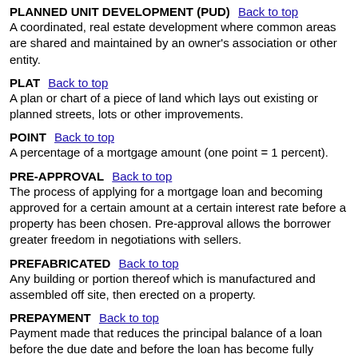PLANNED UNIT DEVELOPMENT (PUD)
A coordinated, real estate development where common areas are shared and maintained by an owner's association or other entity.
PLAT
A plan or chart of a piece of land which lays out existing or planned streets, lots or other improvements.
POINT
A percentage of a mortgage amount (one point = 1 percent).
PRE-APPROVAL
The process of applying for a mortgage loan and becoming approved for a certain amount at a certain interest rate before a property has been chosen. Pre-approval allows the borrower greater freedom in negotiations with sellers.
PREFABRICATED
Any building or portion thereof which is manufactured and assembled off site, then erected on a property.
PREPAYMENT
Payment made that reduces the principal balance of a loan before the due date and before the loan has become fully